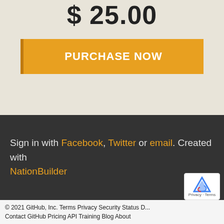$ 25.00
PURCHASE NOW
Sign in with Facebook, Twitter or email. Created with NationBuilder
© 2021 GitHub, Inc. Terms Privacy Security Status D... Contact GitHub Pricing API Training Blog About